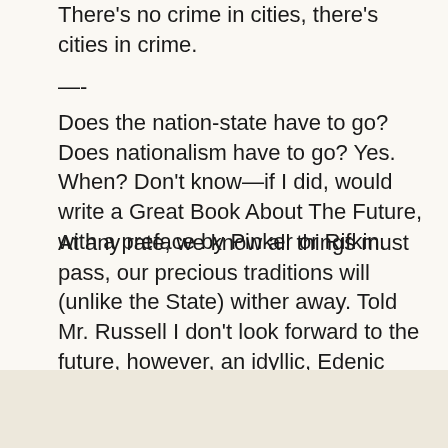There's no crime in cities, there's cities in crime.
—-
Does the nation-state have to go? Does nationalism have to go? Yes. When? Don't know—if I did, would write a Great Book About The Future, with a preface by Pinker or Rifkin.
At any rate, we know all things must pass, our precious traditions will (unlike the State) wither away. Told Mr. Russell I don't look forward to the future, however, an idyllic, Edenic future is for young people willing to rough it in rural locations—not old schoolboys in metro areas.